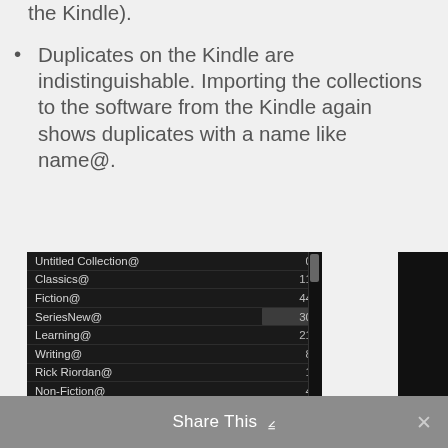the Kindle).
Duplicates on the Kindle are indistinguishable. Importing the collections to the software from the Kindle again shows duplicates with a name like name@.
[Figure (screenshot): Dark-themed list of Kindle collections with names and counts: Untitled Collection@ 0, Classics@ 11, Fiction@ 44, SeriesNew@ 30, Learning@ 21, Writing@ 8, Rick Riordan@ 1, Non-Fiction@ 4, Charlaine Harris@ 0, Teen 4, Romance@ 69, Audio@ 0]
Share This ∨  ✕